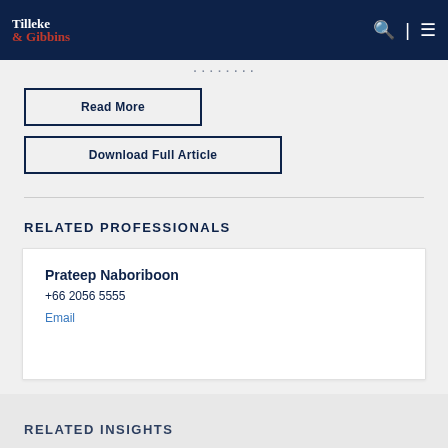Tilleke & Gibbins
Read More
Download Full Article
RELATED PROFESSIONALS
Prateep Naboriboon
+66 2056 5555
Email
RELATED INSIGHTS